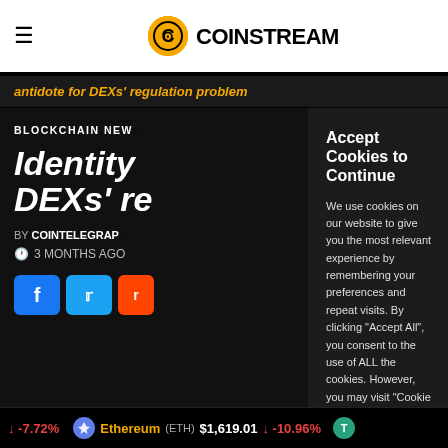COINSTREAMS
antidote for DEXs' regulation problem
BLOCKCHAIN NEWS
Identity... DEXs' re...
BY COINTELEGRAPH
3 MONTHS AGO
[Figure (screenshot): Cookie consent modal dialog with title 'Accept Cookies to Continue', body text about cookie usage, and two buttons: 'Cookie Settings' and 'Accept All']
Ethereum (ETH) $1,619.01 ↓ -10.96% | ↓ -7.72%